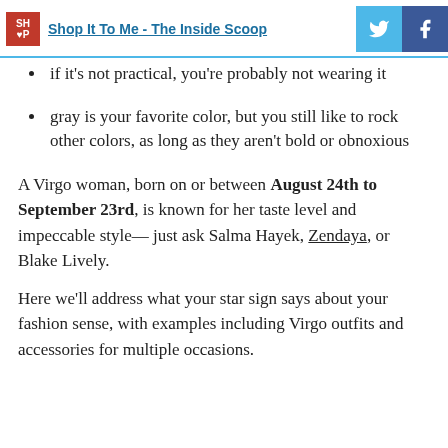Shop It To Me - The Inside Scoop
if it's not practical, you're probably not wearing it
gray is your favorite color, but you still like to rock other colors, as long as they aren't bold or obnoxious
A Virgo woman, born on or between August 24th to September 23rd, is known for her taste level and impeccable style— just ask Salma Hayek, Zendaya, or Blake Lively.
Here we'll address what your star sign says about your fashion sense, with examples including Virgo outfits and accessories for multiple occasions.